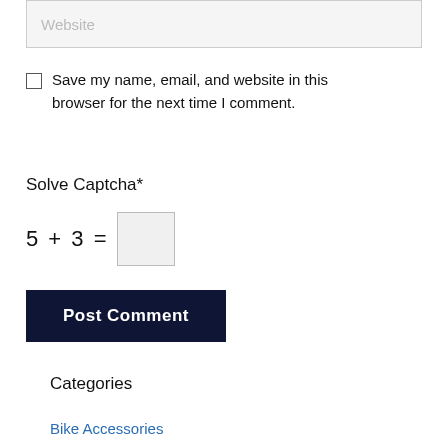Website (placeholder input field)
Save my name, email, and website in this browser for the next time I comment.
Solve Captcha*
Post Comment
Categories
Bike Accessories